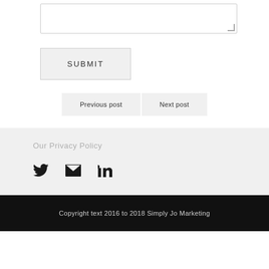[Figure (screenshot): A textarea input box with resize handle at bottom-right corner]
SUBMIT
Previous post
Next post
Our Privacy Policy
[Figure (other): Social media icons: Twitter bird, Email envelope, LinkedIn logo]
Copyright text 2016 to 2018 Simply Jo Marketing